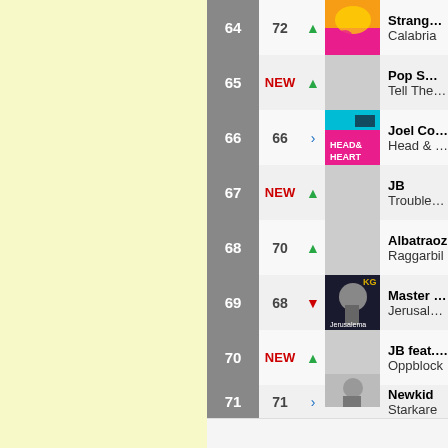| Rank | Prev | Trend | Art | Artist | Song |
| --- | --- | --- | --- | --- | --- |
| 64 | 72 | up |  | Strange Fruits Mus… Lujavo | Calabria |
| 65 | NEW | up |  | Pop Smoke feat. Ka… & Pusha T | Tell The Vision |
| 66 | 66 | same |  | Joel Corry feat. MN… | Head & Heart |
| 67 | NEW | up |  | JB | Troublesome 21 |
| 68 | 70 | up |  | Albatraoz | Raggarbil |
| 69 | 68 | down |  | Master KG feat. No… Zikode | Jerusalema |
| 70 | NEW | up |  | JB feat. Yasin | Oppblock |
| 71 | 71 | same |  | Newkid | Starkare |
| 72 | 51 | down |  | Einár | Haparanda |